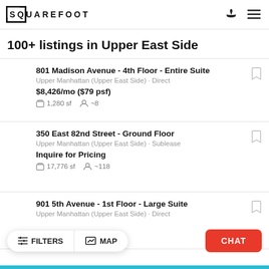SQUAREFOOT
100+ listings in Upper East Side
801 Madison Avenue - 4th Floor - Entire Suite | Upper Manhattan (Upper East Side) · Direct | $8,426/mo ($79 psf) | 1,280 sf | ~8
350 East 82nd Street - Ground Floor | Upper Manhattan (Upper East Side) · Sublease | Inquire for Pricing | 17,776 sf | ~118
901 5th Avenue - 1st Floor - Large Suite | Upper Manhattan (Upper East Side) · Direct